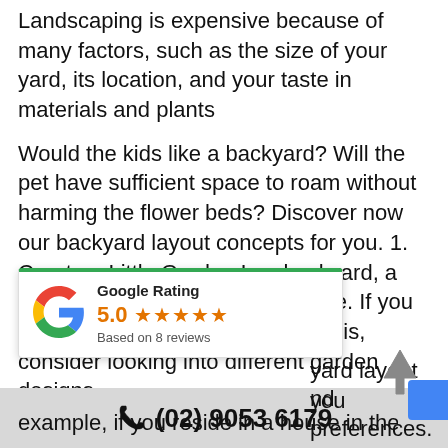Landscaping is expensive because of many factors, such as the size of your yard, its location, and your taste in materials and plants
Would the kids like a backyard? Will the pet have sufficient space to roam without harming the flower beds? Discover now our backyard layout concepts for you. 1. Create a Little Garden In a backyard, a garden can play a substantial role. If you are unsure where to begin with this, consider looking into different garden designs ... yard layout you ... nd preferences. For example, if you reside in a house in the city it
[Figure (other): Google Rating card showing 5.0 stars based on 8 reviews, with Google G logo and green top border]
(02) 9053 6179